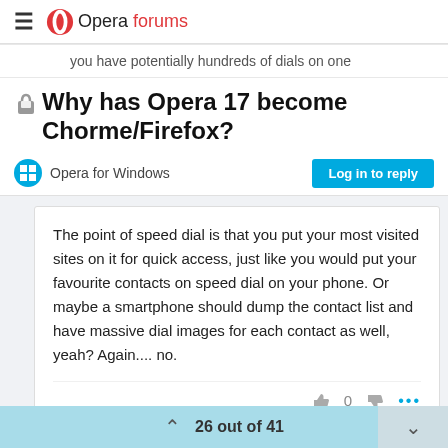Opera forums
you have potentially hundreds of dials on one
🔒Why has Opera 17 become Chorme/Firefox?
Opera for Windows
Log in to reply
The point of speed dial is that you put your most visited sites on it for quick access, just like you would put your favourite contacts on speed dial on your phone. Or maybe a smartphone should dump the contact list and have massive dial images for each contact as well, yeah? Again.... no.
26 out of 41